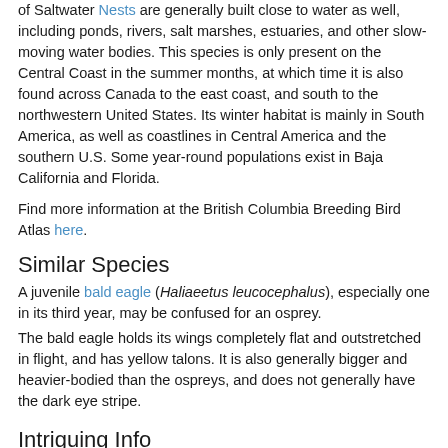of Saltwater Nests are generally built close to water as well, including ponds, rivers, salt marshes, estuaries, and other slow-moving water bodies. This species is only present on the Central Coast in the summer months, at which time it is also found across Canada to the east coast, and south to the northwestern United States. Its winter habitat is mainly in South America, as well as coastlines in Central America and the southern U.S. Some year-round populations exist in Baja California and Florida.
Find more information at the British Columbia Breeding Bird Atlas here.
Similar Species
A juvenile bald eagle (Haliaeetus leucocephalus), especially one in its third year, may be confused for an osprey.
The bald eagle holds its wings completely flat and outstretched in flight, and has yellow talons. It is also generally bigger and heavier-bodied than the ospreys, and does not generally have the dark eye stripe.
Intriguing Info
Ospreys, like many other birds, were threatened by DDT in the 1950s-